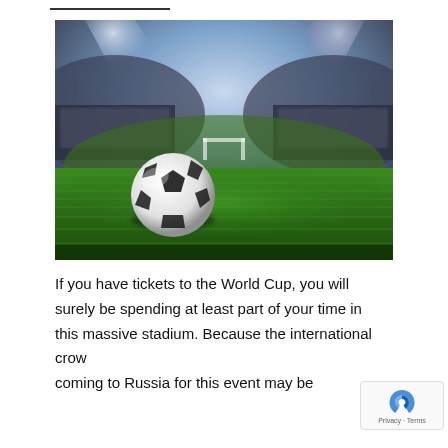[Figure (photo): A soccer ball on green grass in a large floodlit stadium, viewed from a low angle with bright stadium lights and stands visible in the background.]
If you have tickets to the World Cup, you will surely be spending at least part of your time in this massive stadium. Because the international crowd coming to Russia for this event may be